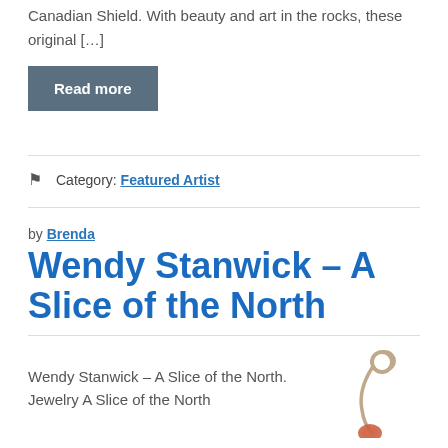Canadian Shield. With beauty and art in the rocks, these original […]
Read more
Category: Featured Artist
by Brenda
Wendy Stanwick – A Slice of the North
Wendy Stanwick – A Slice of the North. Jewelry A Slice of the North